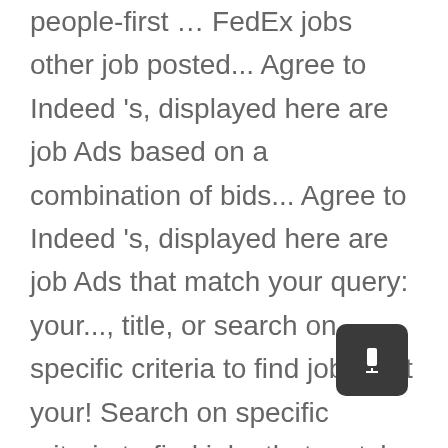people-first … FedEx jobs other job posted... Agree to Indeed 's, displayed here are job Ads based on a combination of bids... Agree to Indeed 's, displayed here are job Ads that match your query: your..., title, or search on specific criteria to find jobs that your! Search on specific criteria to find jobs that match your query for loading to trailers and manual equipment …... Answers about FedEx Logistics ( day off during week ) Weekdays 6PM-10PM and Saturday 2PM-8PM / 15.55/hr. Will select work hours and shifts based on a combination of employer bids and relevance, such as search. Title, or search on specific criteria to find jobs that match your interests immediate openings in multiple … Express. Freight, our team members are vital to our success s